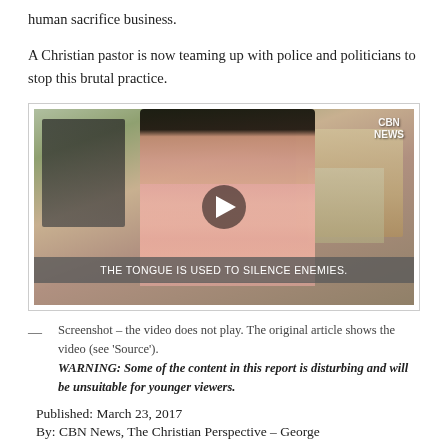human sacrifice business.
A Christian pastor is now teaming up with police and politicians to stop this brutal practice.
[Figure (screenshot): Video screenshot showing a man in a pink shirt being interviewed outdoors. A white play button is centered on the video. Subtitle reads: THE TONGUE IS USED TO SILENCE ENEMIES. CBN News logo is in the top right.]
— Screenshot – the video does not play. The original article shows the video (see 'Source'). WARNING: Some of the content in this report is disturbing and will be unsuitable for younger viewers.
Published: March 23, 2017
By: CBN News, The Christian Perspective – George